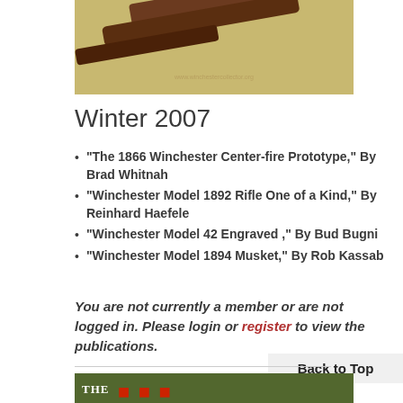[Figure (photo): Photo of a rifle/firearm stock against a tan/beige background, with a watermark URL visible]
Winter 2007
“The 1866 Winchester Center-fire Prototype,” By Brad Whitnah
“Winchester Model 1892 Rifle One of a Kind,” By Reinhard Haefele
“Winchester Model 42 Engraved ,” By Bud Bugni
“Winchester Model 1894 Musket,” By Rob Kassab
You are not currently a member or are not logged in. Please login or register to view the publications.
Back to Top
[Figure (photo): Bottom magazine cover showing 'THE' text and red lettering on a green/olive background]